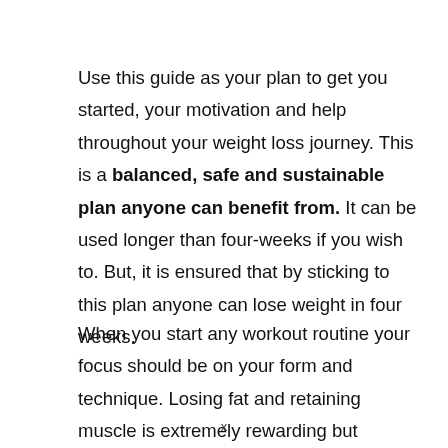Use this guide as your plan to get you started, your motivation and help throughout your weight loss journey. This is a balanced, safe and sustainable plan anyone can benefit from. It can be used longer than four-weeks if you wish to. But, it is ensured that by sticking to this plan anyone can lose weight in four weeks.
When you start any workout routine your focus should be on your form and technique. Losing fat and retaining muscle is extremely rewarding but
x